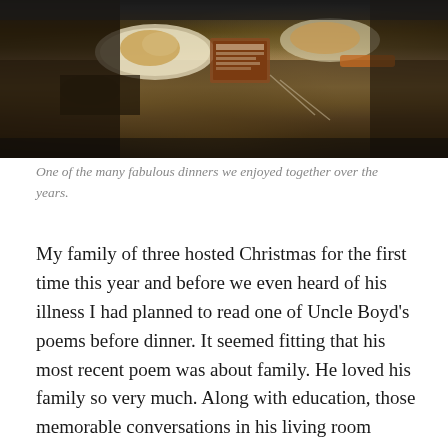[Figure (photo): Photo of people seated at a dark wooden restaurant table with food and plates visible, taken from above at an angle. Dark, warm-toned restaurant setting.]
One of the many fabulous dinners we enjoyed together over the years.
My family of three hosted Christmas for the first time this year and before we even heard of his illness I had planned to read one of Uncle Boyd’s poems before dinner. It seemed fitting that his most recent poem was about family. He loved his family so very much. Along with education, those memorable conversations in his living room would always include stories of family. Stories of his days as a professor and his students, many who were like family. Aunt Dixie and Uncle Boyd opened their home up to college students during the holidays and always made sure that students who